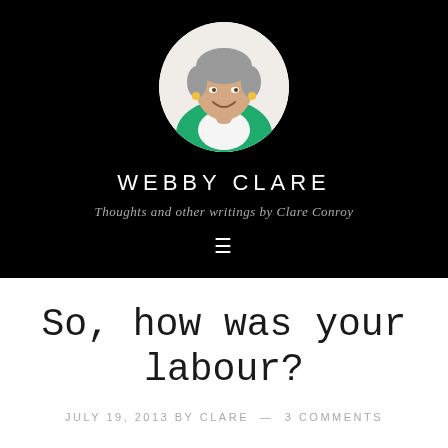[Figure (photo): Circular avatar portrait of a woman with short gray hair wearing a green blazer and white top, smiling, against a white background. Displayed on a black header area.]
WEBBY CLARE
Thoughts and other writings by Clare Conroy
So, how was your labour?
JULY 19, 2013 BY CLARE — 3 COMMENTS